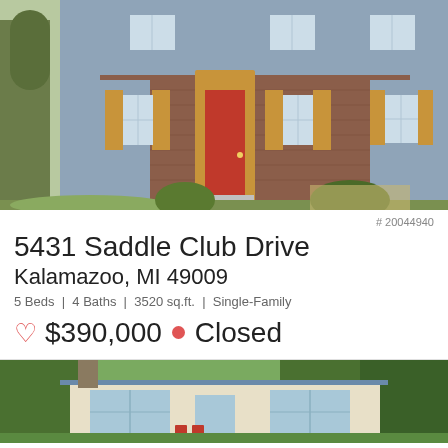[Figure (photo): Exterior photo of a brick and gray siding two-story house with red front door, wood shutters, and landscaped walkway]
# 20044940
5431 Saddle Club Drive
Kalamazoo, MI 49009
5 Beds | 4 Baths | 3520 sq.ft. | Single-Family
♡ $390,000 ● Closed
[Figure (photo): Exterior photo of a small cream-colored ranch house with large windows, surrounded by trees, with red chairs visible near the entrance]